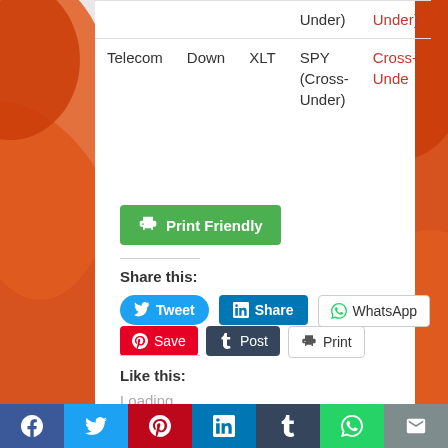| Sector | Direction | Ticker | Signal | Signal (cont.) |
| --- | --- | --- | --- | --- |
|  |  |  | (Cross-Under) | Under) |
| Telecom | Down | XLT | SPY (Cross-Under) | Cross-Under) |
[Figure (other): Print Friendly green button with printer icon]
Share this:
[Figure (other): Social sharing buttons: Tweet, Share (LinkedIn), WhatsApp, Save (Pinterest), Post (Tumblr), Print]
Like this:
Loading...
Facebook | Twitter | Pinterest | LinkedIn | Tumblr | WhatsApp | Email